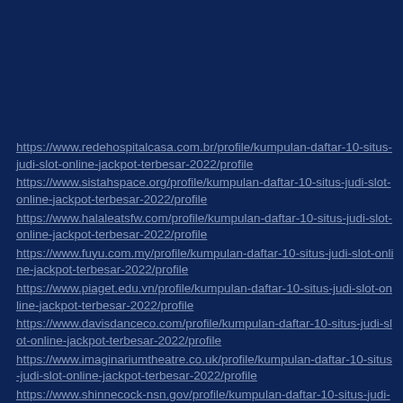https://www.redehospitalcasa.com.br/profile/kumpulan-daftar-10-situs-judi-slot-online-jackpot-terbesar-2022/profile
https://www.sistahspace.org/profile/kumpulan-daftar-10-situs-judi-slot-online-jackpot-terbesar-2022/profile
https://www.halaleatsfw.com/profile/kumpulan-daftar-10-situs-judi-slot-online-jackpot-terbesar-2022/profile
https://www.fuyu.com.my/profile/kumpulan-daftar-10-situs-judi-slot-online-jackpot-terbesar-2022/profile
https://www.piaget.edu.vn/profile/kumpulan-daftar-10-situs-judi-slot-online-jackpot-terbesar-2022/profile
https://www.davisdanceco.com/profile/kumpulan-daftar-10-situs-judi-slot-online-jackpot-terbesar-2022/profile
https://www.imaginariumtheatre.co.uk/profile/kumpulan-daftar-10-situs-judi-slot-online-jackpot-terbesar-2022/profile
https://www.shinnecock-nsn.gov/profile/kumpulan-daftar-10-situs-judi-slot-online-jackpot-terbesar-2022/profile
https://www.lupinewoods.co.uk/profile/kumpulan-daftar-10-situs-judi-slot-online-jackpot-terbesar-2022/profile
https://www.masterthenec.com/community/profile/10-judi-slot-online-jackpot-terbesar-2022/profile